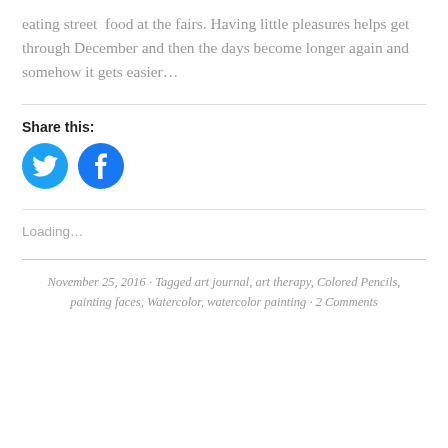eating street food at the fairs. Having little pleasures helps get through December and then the days become longer again and somehow it gets easier…
Share this:
[Figure (other): Two circular social share buttons: Twitter (blue bird icon) and Facebook (blue f icon)]
Loading…
November 25, 2016 · Tagged art journal, art therapy, Colored Pencils, painting faces, Watercolor, watercolor painting · 2 Comments